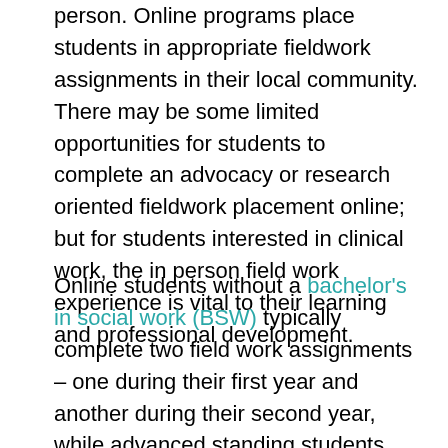person. Online programs place students in appropriate fieldwork assignments in their local community. There may be some limited opportunities for students to complete an advocacy or research oriented fieldwork placement online; but for students interested in clinical work, the in person field work experience is vital to their learning and professional development.
Online students without a bachelor's in social work (BSW) typically complete two field work assignments – one during their first year and another during their second year, while advanced standing students with a BSW may complete only one fieldwork assignment.